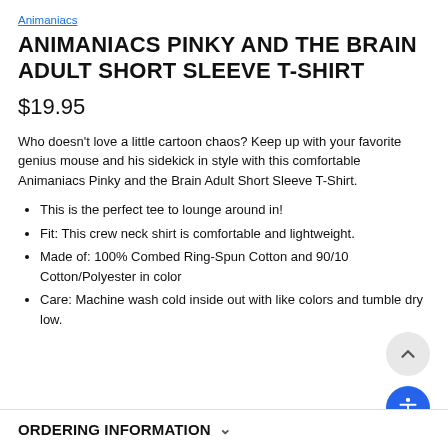Animaniacs
ANIMANIACS PINKY AND THE BRAIN ADULT SHORT SLEEVE T-SHIRT
$19.95
Who doesn't love a little cartoon chaos? Keep up with your favorite genius mouse and his sidekick in style with this comfortable Animaniacs Pinky and the Brain Adult Short Sleeve T-Shirt.
This is the perfect tee to lounge around in!
Fit: This crew neck shirt is comfortable and lightweight.
Made of: 100% Combed Ring-Spun Cotton and 90/10 Cotton/Polyester in color
Care: Machine wash cold inside out with like colors and tumble dry low.
ORDERING INFORMATION